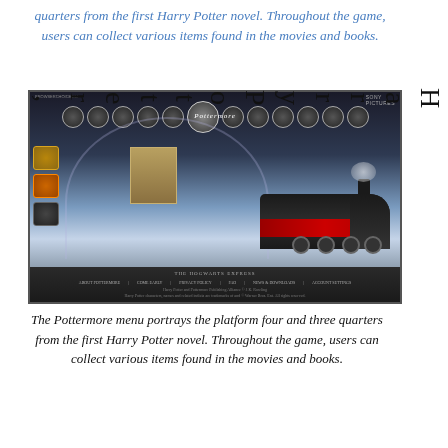quarters from the first Harry Potter novel. Throughout the game, users can collect various items found in the movies and books.
[Figure (screenshot): Screenshot of the Pottermore website showing the platform four and three quarters scene with the Hogwarts Express train, circular menu icons at the top, and the Pottermore logo.]
The Pottermore menu portrays the platform four and three quarters from the first Harry Potter novel. Throughout the game, users can collect various items found in the movies and books.
HarryPotter,